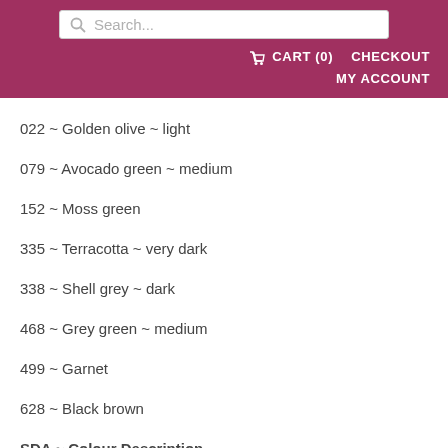Search... | CART (0) | CHECKOUT | MY ACCOUNT
022 ~ Golden olive ~ light
079 ~ Avocado green ~ medium
152 ~ Moss green
335 ~ Terracotta ~ very dark
338 ~ Shell grey ~ dark
468 ~ Grey green ~ medium
499 ~ Garnet
628 ~ Black brown
SDA ~ Colour Description